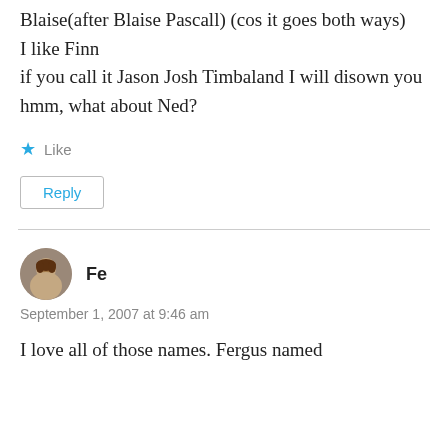Blaise(after Blaise Pascall) (cos it goes both ways)
I like Finn
if you call it Jason Josh Timbaland I will disown you
hmm, what about Ned?
Like
Reply
Fe
September 1, 2007 at 9:46 am
I love all of those names. Fergus named